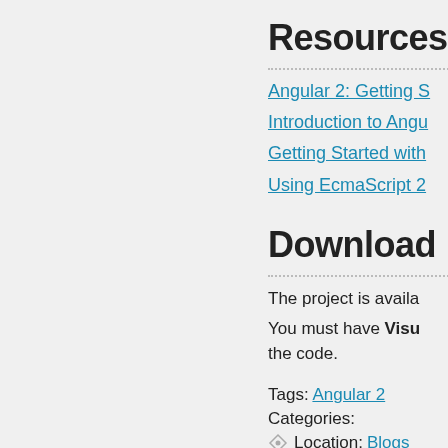Resources
Angular 2: Getting S
Introduction to Angu
Getting Started with
Using EcmaScript 2
Download
The project is availa
You must have Visual Studio to run the code.
Tags: Angular 2
Categories:
Location: Blogs